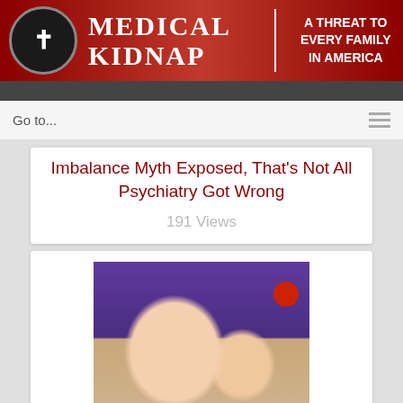[Figure (logo): Medical Kidnap website header banner with logo cross icon, title 'Medical Kidnap', and subtitle 'A Threat to Every Family in America' on a dark red background]
Go to...
Imbalance Myth Exposed, That's Not All Psychiatry Got Wrong
191 Views
[Figure (photo): Photo of a young woman holding an infant wearing a red flower headband]
Medical Kidnapping in California Results in Infant Death